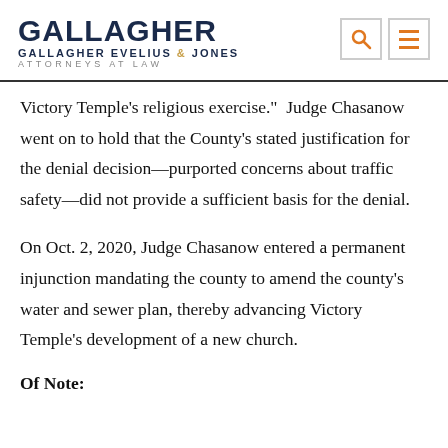GALLAGHER GALLAGHER EVELIUS & JONES ATTORNEYS AT LAW
Victory Temple’s religious exercise.”  Judge Chasanow went on to hold that the County’s stated justification for the denial decision—purported concerns about traffic safety—did not provide a sufficient basis for the denial.
On Oct. 2, 2020, Judge Chasanow entered a permanent injunction mandating the county to amend the county’s water and sewer plan, thereby advancing Victory Temple’s development of a new church.
Of Note: